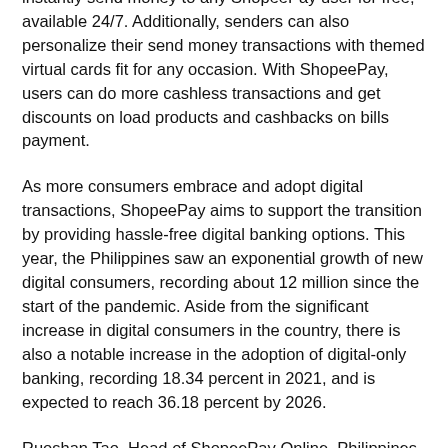Within the app, Verified ShopeePay users can also instantly send money to any ShopeePay user for free, available 24/7. Additionally, senders can also personalize their send money transactions with themed virtual cards fit for any occasion. With ShopeePay, users can do more cashless transactions and get discounts on load products and cashbacks on bills payment.
As more consumers embrace and adopt digital transactions, ShopeePay aims to support the transition by providing hassle-free digital banking options. This year, the Philippines saw an exponential growth of new digital consumers, recording about 12 million since the start of the pandemic. Aside from the significant increase in digital consumers in the country, there is also a notable increase in the adoption of digital-only banking, recording 18.34 percent in 2021, and is expected to reach 36.18 percent by 2026.
Ruoshan Tao, Head of ShopeePay Online, Philippines, said, “The digital market of Southeast Asia is rapidly growing, and digital transactions such as online payments and money transfers are also becoming more prevalent. At ShopeePay,